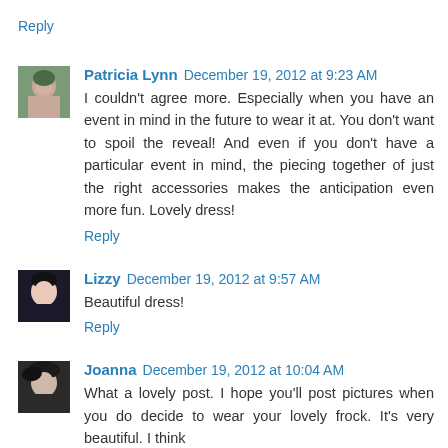Reply
Patricia Lynn December 19, 2012 at 9:23 AM
I couldn't agree more. Especially when you have an event in mind in the future to wear it at. You don't want to spoil the reveal! And even if you don't have a particular event in mind, the piecing together of just the right accessories makes the anticipation even more fun. Lovely dress!
Reply
Lizzy December 19, 2012 at 9:57 AM
Beautiful dress!
Reply
Joanna December 19, 2012 at 10:04 AM
What a lovely post. I hope you'll post pictures when you do decide to wear your lovely frock. It's very beautiful. I think